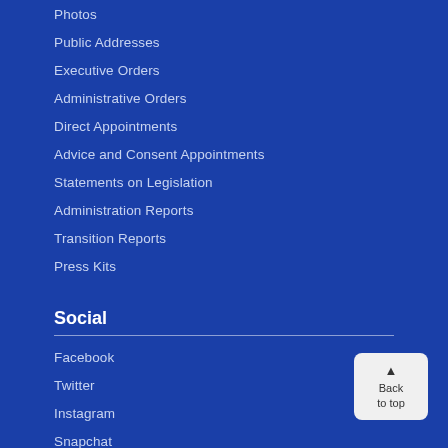Photos
Public Addresses
Executive Orders
Administrative Orders
Direct Appointments
Advice and Consent Appointments
Statements on Legislation
Administration Reports
Transition Reports
Press Kits
Social
Facebook
Twitter
Instagram
Snapchat